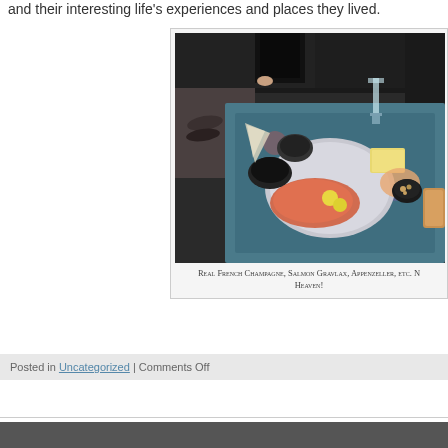and their interesting life's experiences and places they lived.
[Figure (photo): Photo of a food spread on a colorful tablecloth including salmon gravlax with lemon, cheese (Appenzeller), shrimp, bread, and a glass of champagne, shot from above with people visible on a sofa in the background.]
Real French Champagne, Salmon Gravlax, Appenzeller, etc. Heaven!
Posted in Uncategorized | Comments Off